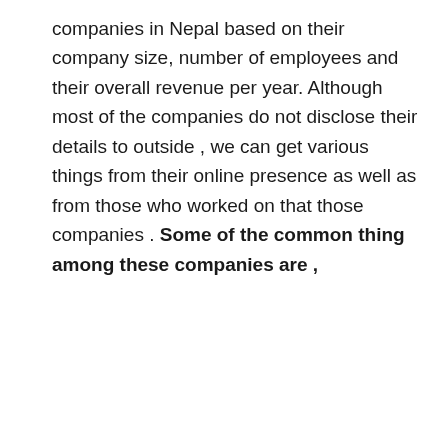companies in Nepal based on their company size, number of employees and their overall revenue per year. Although most of the companies do not disclose their details to outside , we can get various things from their online presence as well as from those who worked on that those companies . Some of the common thing among these companies are ,